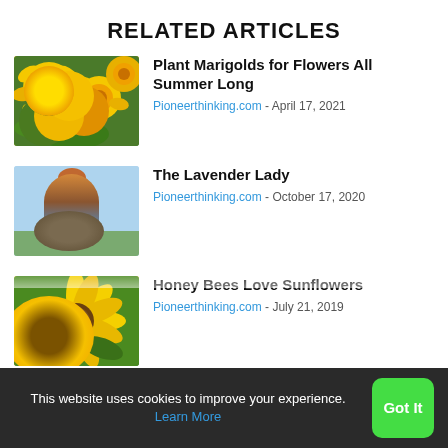RELATED ARTICLES
[Figure (photo): Yellow marigold flowers in bloom with green foliage]
Plant Marigolds for Flowers All Summer Long
Pioneerthinking.com - April 17, 2021
[Figure (photo): Woman with red hair holding a basket of lavender flowers outdoors]
The Lavender Lady
Pioneerthinking.com - October 17, 2020
[Figure (photo): Close-up of sunflower with yellow petals and green leaves]
Honey Bees Love Sunflowers
Pioneerthinking.com - July 21, 2019
This website uses cookies to improve your experience. Learn More